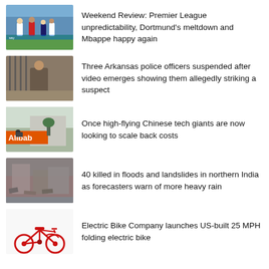[Figure (photo): Soccer players on a football pitch, Premier League match]
Weekend Review: Premier League unpredictability, Dortmund's meltdown and Mbappe happy again
[Figure (photo): Police officers scene, Arkansas]
Three Arkansas police officers suspended after video emerges showing them allegedly striking a suspect
[Figure (photo): Alibaba sign, Chinese tech]
Once high-flying Chinese tech giants are now looking to scale back costs
[Figure (photo): Flood and landslide damage in northern India]
40 killed in floods and landslides in northern India as forecasters warn of more heavy rain
[Figure (photo): Red folding electric bike]
Electric Bike Company launches US-built 25 MPH folding electric bike